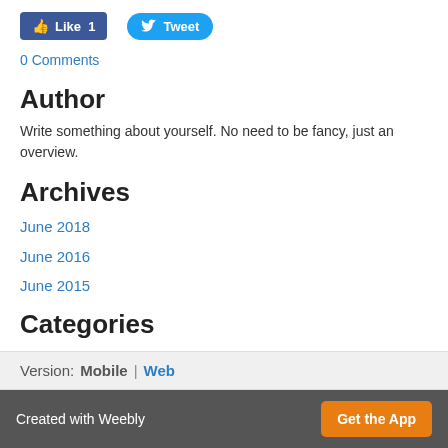[Figure (other): Facebook Like button (blue, thumbs up, count 1) and Twitter Tweet button (blue, bird icon)]
0 Comments
Author
Write something about yourself. No need to be fancy, just an overview.
Archives
June 2018
June 2016
June 2015
Categories
All
RSS Feed
Version:  Mobile  |  Web
Created with Weebly   Get the App